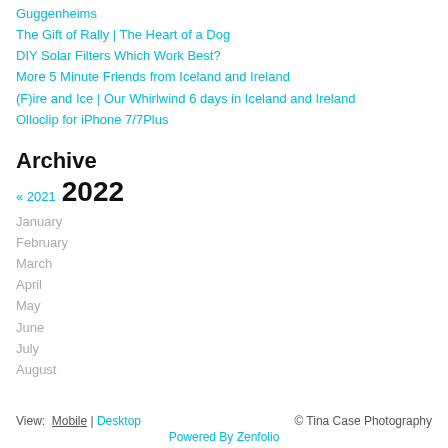Guggenheims
The Gift of Rally | The Heart of a Dog
DIY Solar Filters Which Work Best?
More 5 Minute Friends from Iceland and Ireland
(F)ire and Ice | Our Whirlwind 6 days in Iceland and Ireland
Olloclip for iPhone 7/7Plus
Archive
« 2021  2022
January
February
March
April
May
June
July
August
View:  Mobile | Desktop  © Tina Case Photography  Powered By Zenfolio